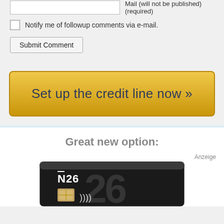Mail (will not be published) (required)
Notify me of followup comments via e-mail.
Submit Comment
Set up the credit line now »
Great new option:
Anzeige
[Figure (photo): N26 bank card image showing the N26 logo and card chip]